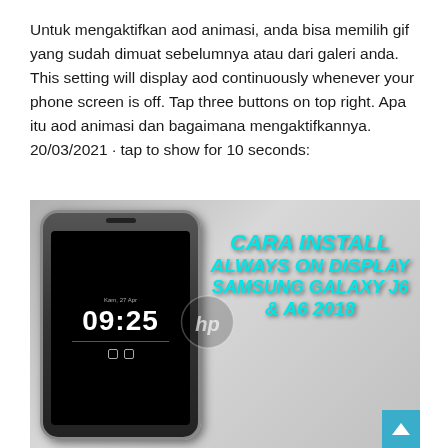Untuk mengaktifkan aod animasi, anda bisa memilih gif yang sudah dimuat sebelumnya atau dari galeri anda. This setting will display aod continuously whenever your phone screen is off. Tap three buttons on top right. Apa itu aod animasi dan bagaimana mengaktifkannya. 20/03/2021 · tap to show for 10 seconds:
[Figure (photo): A Samsung smartphone in a protective case showing 09:25 on the Always On Display screen, alongside cyan-colored bold italic text reading 'CARA INSTALL ALWAYS ON DISPLAY SAMSUNG GALAXY J6 & A6 2018' on a gray gradient background. A blue scroll-to-top button is visible in the bottom right corner.]